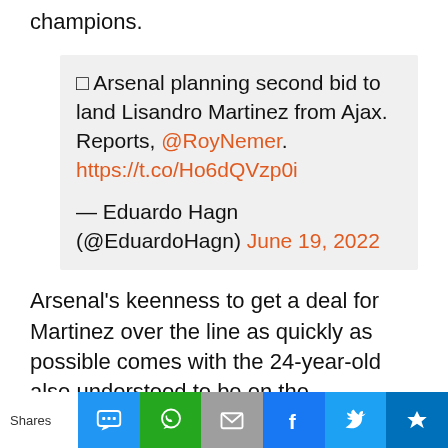champions.
⬜ Arsenal planning second bid to land Lisandro Martinez from Ajax. Reports, @RoyNemer. https://t.co/Ho6dQVzp0i
— Eduardo Hagn (@EduardoHagn) June 19, 2022
Arsenal's keenness to get a deal for Martinez over the line as quickly as possible comes with the 24-year-old also understood to be on the
Shares [SMS] [WhatsApp] [Email] [Facebook] [Twitter] [King]